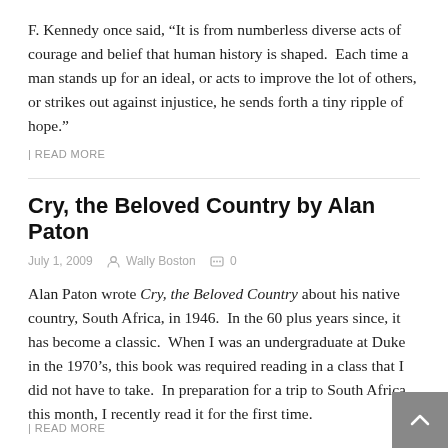F. Kennedy once said, “It is from numberless diverse acts of courage and belief that human history is shaped.  Each time a man stands up for an ideal, or acts to improve the lot of others, or strikes out against injustice, he sends forth a tiny ripple of hope.”
| READ MORE
Cry, the Beloved Country by Alan Paton
July 1, 2009   Wally Boston   0
Alan Paton wrote Cry, the Beloved Country about his native country, South Africa, in 1946.  In the 60 plus years since, it has become a classic.  When I was an undergraduate at Duke in the 1970’s, this book was required reading in a class that I did not have to take.  In preparation for a trip to South Africa this month, I recently read it for the first time.
| READ MORE